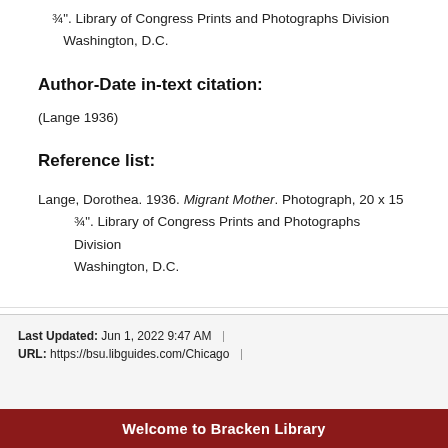¾". Library of Congress Prints and Photographs Division Washington, D.C.
Author-Date in-text citation:
(Lange 1936)
Reference list:
Lange, Dorothea. 1936. Migrant Mother. Photograph, 20 x 15 ¾". Library of Congress Prints and Photographs Division Washington, D.C.
Last Updated: Jun 1, 2022 9:47 AM | URL: https://bsu.libguides.com/Chicago | Print Page Login to LibApps
Welcome to Bracken Library